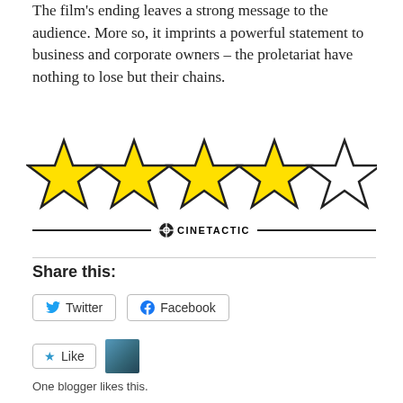The film's ending leaves a strong message to the audience. More so, it imprints a powerful statement to business and corporate owners – the proletariat have nothing to lose but their chains.
[Figure (other): 4 out of 5 stars rating: four filled yellow stars and one empty star outline, with a Cinetactic logo divider below]
Share this:
Twitter
Facebook
Like
One blogger likes this.